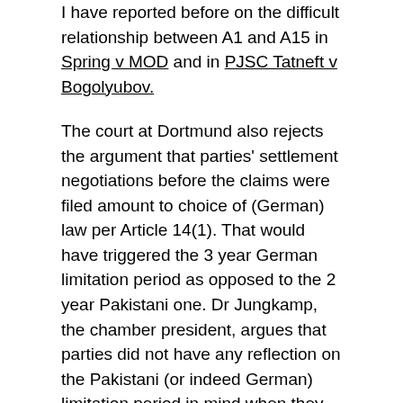I have reported before on the difficult relationship between A1 and A15 in Spring v MOD and in PJSC Tatneft v Bogolyubov.
The court at Dortmund also rejects the argument that parties' settlement negotiations before the claims were filed amount to choice of (German) law per Article 14(1). That would have triggered the 3 year German limitation period as opposed to the 2 year Pakistani one. Dr Jungkamp, the chamber president, argues that parties did not have any reflection on the Pakistani (or indeed German) limitation period in mind when they corresponded on the ex gratia out of court settlement, hence excluding the intention (animus contrahendi) required to speak of choice of law. I would suggest that is a bit of a succinct analysis to conclude absence of choice of law. Parties need not be aware of all implications of such choice for it to be validly made.